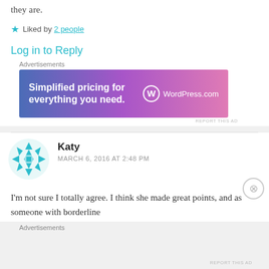they are.
★ Liked by 2 people
Log in to Reply
Advertisements
[Figure (other): WordPress.com advertisement banner: 'Simplified pricing for everything you need.' with WordPress.com logo]
REPORT THIS AD
Katy
MARCH 6, 2016 AT 2:48 PM
[Figure (illustration): Teal/blue decorative quilt-pattern avatar for user Katy]
I'm not sure I totally agree. I think she made great points, and as someone with borderline
Advertisements
REPORT THIS AD